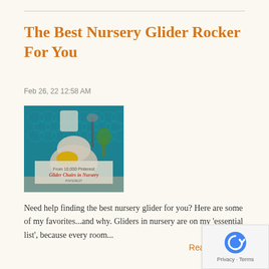The Best Nursery Glider Rocker For You
Feb 26, 22 12:58 AM
[Figure (photo): A stylish nursery glider chair with yellow cushion against a teal patterned wall, with overlay text reading 'Glider Chairs in Nursery']
Need help finding the best nursery glider for you? Here are some of my favorites...and why. Gliders in nursery are on my 'essential list', because every room...
Read